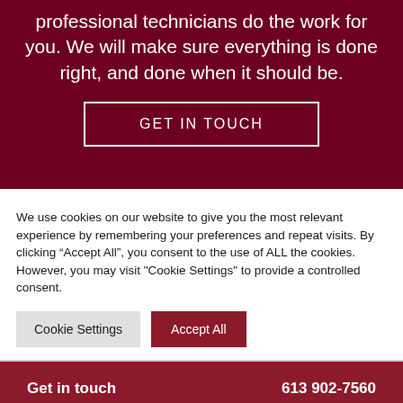professional technicians do the work for you. We will make sure everything is done right, and done when it should be.
GET IN TOUCH
We use cookies on our website to give you the most relevant experience by remembering your preferences and repeat visits. By clicking “Accept All”, you consent to the use of ALL the cookies. However, you may visit "Cookie Settings" to provide a controlled consent.
Cookie Settings
Accept All
Get in touch    613 902-7560